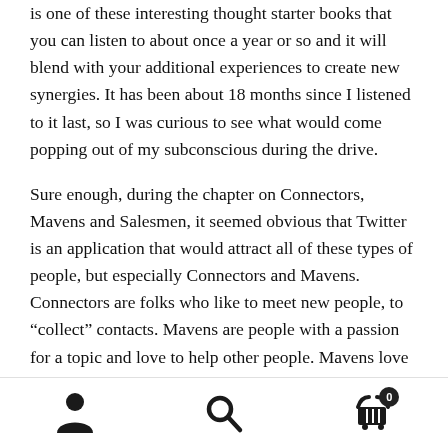is one of these interesting thought starter books that you can listen to about once a year or so and it will blend with your additional experiences to create new synergies. It has been about 18 months since I listened to it last, so I was curious to see what would come popping out of my subconscious during the drive.
Sure enough, during the chapter on Connectors, Mavens and Salesmen, it seemed obvious that Twitter is an application that would attract all of these types of people, but especially Connectors and Mavens. Connectors are folks who like to meet new people, to “collect” contacts. Mavens are people with a passion for a topic and love to help other people. Mavens love to reach out and assist people, with no apparent benefit for themselves. If you have spent any time on Twitter you have met people
[Figure (infographic): Bottom navigation bar with three icons: person/user icon on the left, search/magnifying glass icon in the center, and shopping cart icon with a badge showing '0' on the right.]